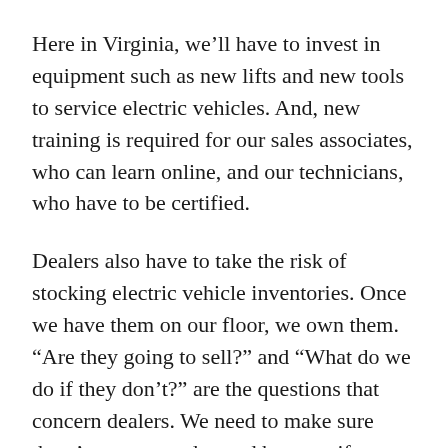Here in Virginia, we’ll have to invest in equipment such as new lifts and new tools to service electric vehicles. And, new training is required for our sales associates, who can learn online, and our technicians, who have to be certified.
Dealers also have to take the risk of stocking electric vehicle inventories. Once we have them on our floor, we own them. “Are they going to sell?” and “What do we do if they don’t?” are the questions that concern dealers. We need to make sure there’s consumer demand because if we don’t sell them before the next model year is available, it’s a high-dollar investment.